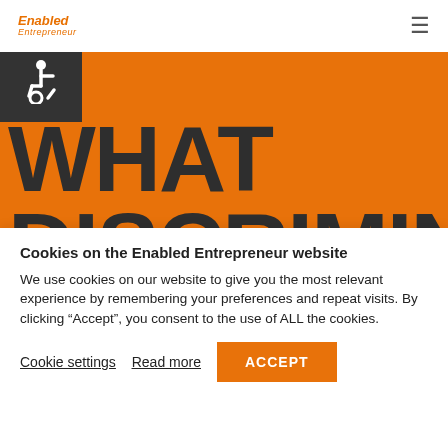Enabled Entrepreneur
[Figure (logo): Enabled Entrepreneur logo with orange italic text and accessibility wheelchair icon on dark background]
WHAT DISCRIMIN
Cookies on the Enabled Entrepreneur website
We use cookies on our website to give you the most relevant experience by remembering your preferences and repeat visits. By clicking "Accept", you consent to the use of ALL the cookies.
Cookie settings   Read more   ACCEPT